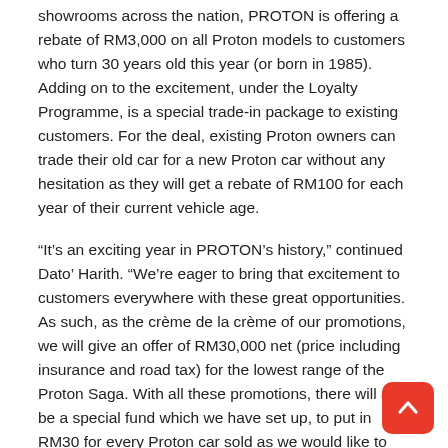showrooms across the nation, PROTON is offering a rebate of RM3,000 on all Proton models to customers who turn 30 years old this year (or born in 1985).  Adding on to the excitement, under the Loyalty Programme, is a special trade-in package to existing customers. For the deal, existing Proton owners can trade their old car for a new Proton car without any hesitation as they will get a rebate of RM100 for each year of their current vehicle age.
“It’s an exciting year in PROTON’s history,” continued Dato’ Harith. “We’re eager to bring that excitement to customers everywhere with these great opportunities. As such, as the crème de la crème of our promotions, we will give an offer of RM30,000 net (price including insurance and road tax) for the lowest range of the Proton Saga. With all these promotions, there will also be a special fund which we have set up, to put in RM30 for every Proton car sold as we would like to share the significant moment with those unfortunate. We shall look at 3 charitable bodies which will be the recipient of the fund towards the end of this year,” Dato’ Harith added.
In addition to the 30th Anniversary promotions, customers can still enjoy the current promotion of 1.99% interest rate per annum on